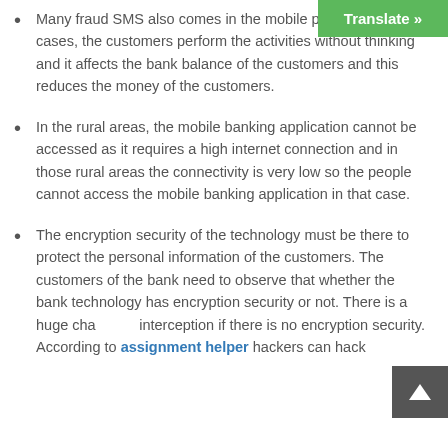[Figure (other): Green 'Translate »' button in top-right corner]
Many fraud SMS also comes in the mobile phones and many cases, the customers perform the activities without thinking and it affects the bank balance of the customers and this reduces the money of the customers.
In the rural areas, the mobile banking application cannot be accessed as it requires a high internet connection and in those rural areas the connectivity is very low so the people cannot access the mobile banking application in that case.
The encryption security of the technology must be there to protect the personal information of the customers. The customers of the bank need to observe that whether the bank technology has encryption security or not. There is a huge chance of interception if there is no encryption security. According to assignment helper hackers can hack
[Figure (other): Dark grey 'back to top' arrow button in bottom-right corner]